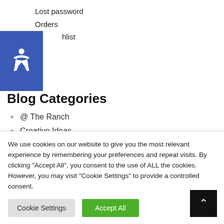Lost password
Orders
Wishlist
Blog Categories
@ The Ranch
Creative Ideas
Creative Spaces
We use cookies on our website to give you the most relevant experience by remembering your preferences and repeat visits. By clicking "Accept All", you consent to the use of ALL the cookies. However, you may visit "Cookie Settings" to provide a controlled consent.